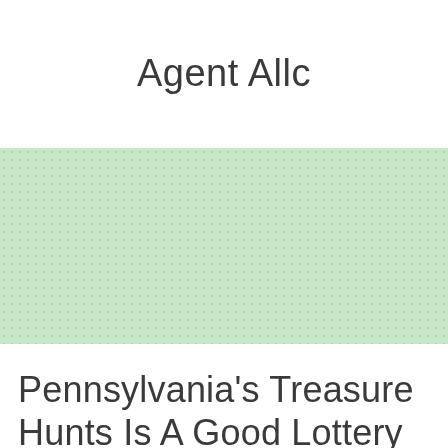Agent Allc
[Figure (other): A light green rectangular box with a dotted/textured pattern filling the area]
Pennsylvania's Treasure Hunts Is A Good Lottery